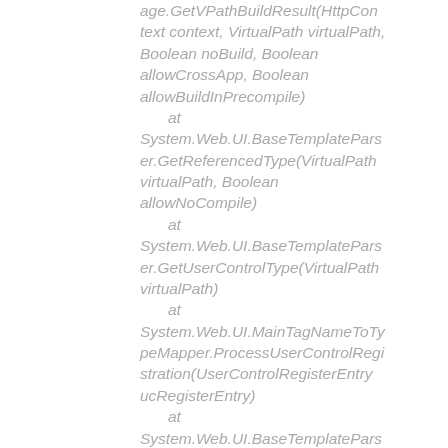age.GetVPathBuildResult(HttpContext context, VirtualPath virtualPath, Boolean noBuild, Boolean allowCrossApp, Boolean allowBuildInPrecompile)
    at System.Web.UI.BaseTemplateParser.GetReferencedType(VirtualPath virtualPath, Boolean allowNoCompile)
    at System.Web.UI.BaseTemplateParser.GetUserControlType(VirtualPath virtualPath)
    at System.Web.UI.MainTagNameToTypeMapper.ProcessUserControlRegistration(UserControlRegisterEntry ucRegisterEntry)
    at System.Web.UI.BaseTemplatePars